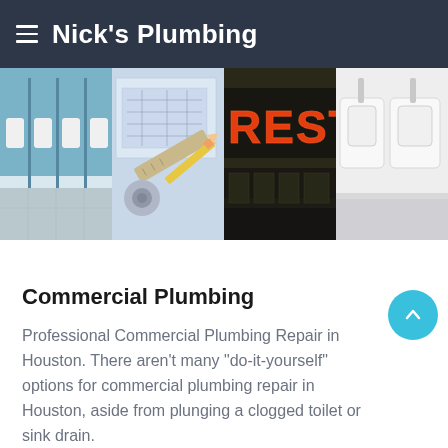Nick's Plumbing
[Figure (photo): Four-panel image strip showing: a commercial bathroom with urinals and blue tiled walls, architectural blueprints with a pencil and ruler, a neon restaurant sign reading RESTAUR, and white urinals close-up.]
Commercial Plumbing
Professional Commercial Plumbing Repair in Houston. There aren't many “do-it-yourself” options for commercial plumbing repair in Houston, aside from plunging a clogged toilet or sink drain.